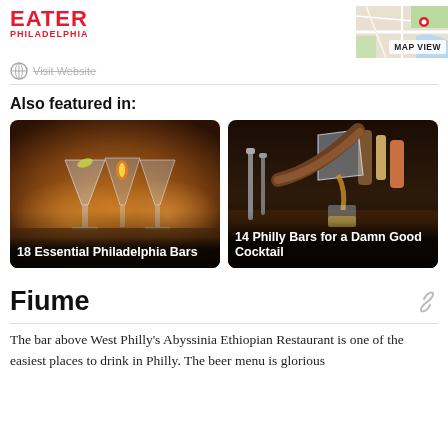EATER PHILADELPHIA
Visit Website
Also featured in:
[Figure (photo): Three cocktail glasses with garnishes on a bar, warm golden bokeh background. Card labeled '18 Essential Philadelphia Bars']
[Figure (photo): Bartender pouring a cocktail from a strainer into a glass at a bar. Card labeled '14 Philly Bars for a Damn Good Cocktail']
Fiume
The bar above West Philly's Abyssinia Ethiopian Restaurant is one of the easiest places to drink in Philly. The beer menu is glorious